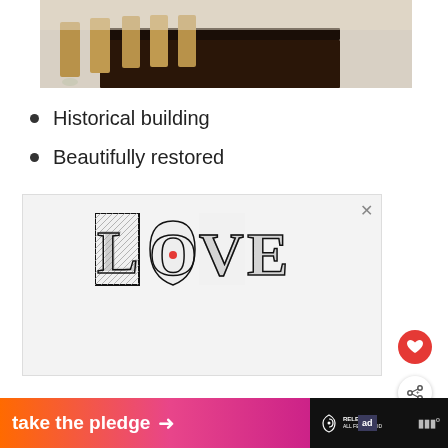[Figure (photo): Interior photo showing a dark wooden dining table with gold/brass stools or chairs, light-colored floor, top portion of image visible]
Historical building
Beautifully restored
[Figure (illustration): LOVE graphic text with ornate black and white patterned lettering, ad banner content in a light gray box with X close button]
[Figure (infographic): What's Next panel showing '14 Best Hotels in Seville wit...' with thumbnail of hotel pool]
[Figure (infographic): Bottom banner: 'take the pledge' with arrow, RELEASE logo, ad label, and weather app logo on dark background]